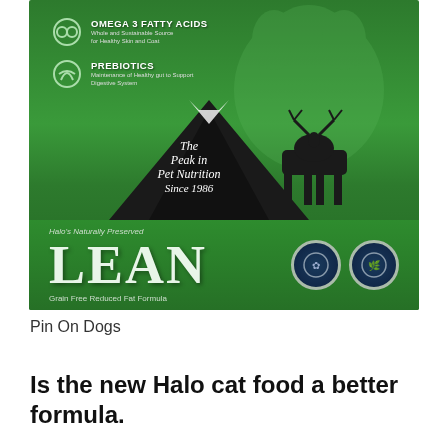[Figure (photo): Halo Naturally Preserved LEAN dog food bag in green, showing omega 3 fatty acids and prebiotics badges, mountain landscape silhouette with moose, dog face in background, and LEAN Grain Free Reduced Fat Formula text at bottom with certification seals]
Pin On Dogs
Is the new Halo cat food a better formula.